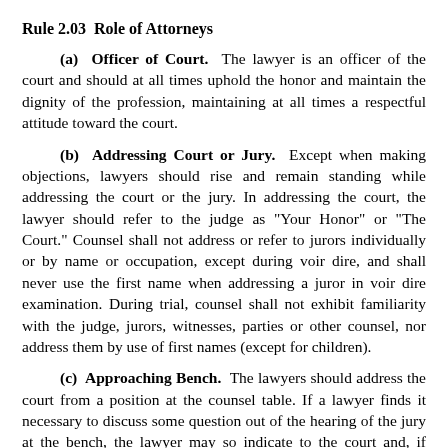Rule 2.03  Role of Attorneys
(a)  Officer of Court.  The lawyer is an officer of the court and should at all times uphold the honor and maintain the dignity of the profession, maintaining at all times a respectful attitude toward the court.
(b)  Addressing Court or Jury.  Except when making objections, lawyers should rise and remain standing while addressing the court or the jury. In addressing the court, the lawyer should refer to the judge as "Your Honor" or "The Court." Counsel shall not address or refer to jurors individually or by name or occupation, except during voir dire, and shall never use the first name when addressing a juror in voir dire examination. During trial, counsel shall not exhibit familiarity with the judge, jurors, witnesses, parties or other counsel, nor address them by use of first names (except for children).
(c)  Approaching Bench.  The lawyers should address the court from a position at the counsel table. If a lawyer finds it necessary to discuss some question out of the hearing of the jury at the bench, the lawyer may so indicate to the court and, if invited, approach the bench for the purpose indicated. In